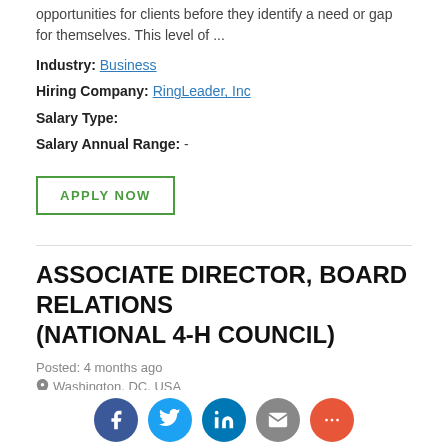opportunities for clients before they identify a need or gap for themselves. This level of ...
Industry: Business
Hiring Company: RingLeader, Inc
Salary Type:
Salary Annual Range: -
APPLY NOW
ASSOCIATE DIRECTOR, BOARD RELATIONS (NATIONAL 4-H COUNCIL)
Posted: 4 months ago
Washington, DC, USA
Skills and Qualification Â· Bachelor's degree in nonprofit management, public administration, business administration, or related discipline. Â· Minimum eight to ten years' experience in Board ...
Hiring Company: Nonprofit HR